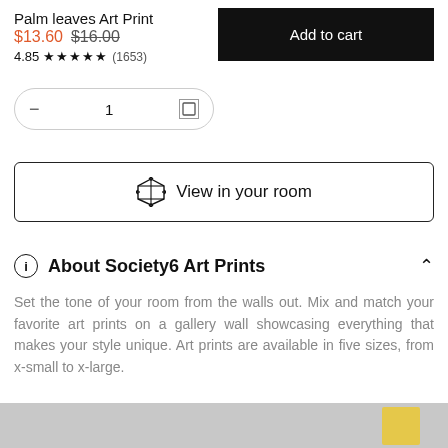Palm leaves Art Print
$13.60 $16.00
4.85 ★★★★★ (1653)
[Figure (other): Add to cart button (black rectangle)]
[Figure (other): Quantity selector bar with minus, 1, and square icon inside a rounded rectangle]
[Figure (other): View in your room button with AR cube icon]
About Society6 Art Prints
Set the tone of your room from the walls out. Mix and match your favorite art prints on a gallery wall showcasing everything that makes your style unique. Art prints are available in five sizes, from x-small to x-large.
[Figure (photo): Partial bottom image strip showing a gray scene with a yellow accent element]